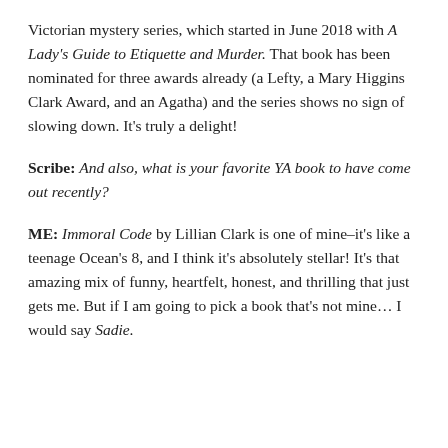Victorian mystery series, which started in June 2018 with A Lady's Guide to Etiquette and Murder. That book has been nominated for three awards already (a Lefty, a Mary Higgins Clark Award, and an Agatha) and the series shows no sign of slowing down. It's truly a delight!
Scribe: And also, what is your favorite YA book to have come out recently?
ME: Immoral Code by Lillian Clark is one of mine–it's like a teenage Ocean's 8, and I think it's absolutely stellar! It's that amazing mix of funny, heartfelt, honest, and thrilling that just gets me. But if I am going to pick a book that's not mine… I would say Sadie.